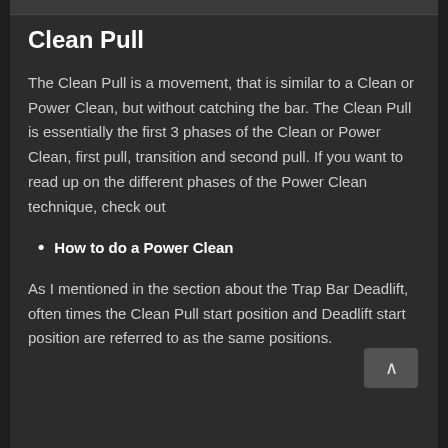Clean Pull
The Clean Pull is a movement, that is similar to a Clean or Power Clean, but without catching the bar. The Clean Pull is essentially the first 3 phases of the Clean or Power Clean, first pull, transition and second pull. If you want to read up on the different phases of the Power Clean technique, check out
How to do a Power Clean
As I mentioned in the section about the Trap Bar Deadlift, often times the Clean Pull start position and Deadlift start position are referred to as the same positions.